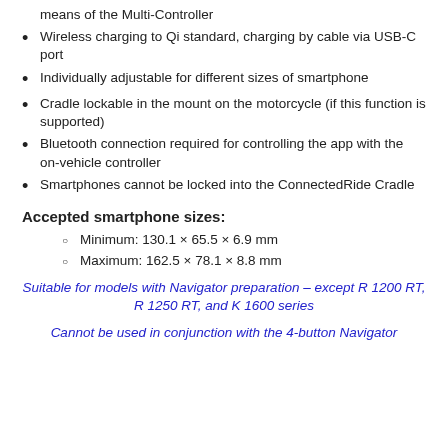means of the Multi-Controller
Wireless charging to Qi standard, charging by cable via USB-C port
Individually adjustable for different sizes of smartphone
Cradle lockable in the mount on the motorcycle (if this function is supported)
Bluetooth connection required for controlling the app with the on-vehicle controller
Smartphones cannot be locked into the ConnectedRide Cradle
Accepted smartphone sizes:
Minimum: 130.1 × 65.5 × 6.9 mm
Maximum: 162.5 × 78.1 × 8.8 mm
Suitable for models with Navigator preparation – except R 1200 RT, R 1250 RT, and K 1600 series
Cannot be used in conjunction with the 4-button Navigator